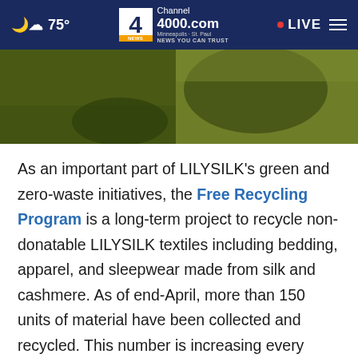☁ 75° | Channel 4000.com Minneapolis · St. Paul NEWS YOU CAN TRUST | LIVE
[Figure (photo): Aerial or close-up photo of green and dark textured ground, possibly grass or vegetation with shadows]
As an important part of LILYSILK's green and zero-waste initiatives, the Free Recycling Program is a long-term project to recycle non-donatable LILYSILK textiles including bedding, apparel, and sleepwear made from silk and cashmere. As of end-April, more than 150 units of material have been collected and recycled. This number is increasing every month.